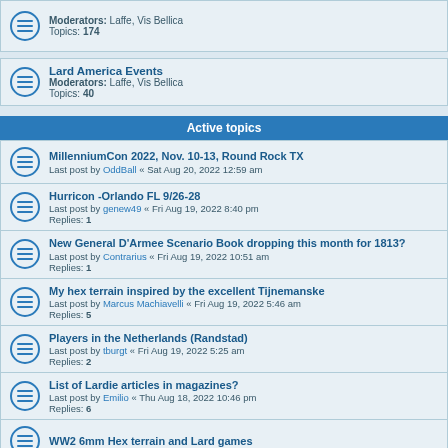Moderators: Laffe, Vis Bellica
Topics: 174
Lard America Events
Moderators: Laffe, Vis Bellica
Topics: 40
Active topics
MillenniumCon 2022, Nov. 10-13, Round Rock TX
Last post by OddBall « Sat Aug 20, 2022 12:59 am
Hurricon -Orlando FL 9/26-28
Last post by genew49 « Fri Aug 19, 2022 8:40 pm
Replies: 1
New General D'Armee Scenario Book dropping this month for 1813?
Last post by Contrarius « Fri Aug 19, 2022 10:51 am
Replies: 1
My hex terrain inspired by the excellent Tijnemanske
Last post by Marcus Machiavelli « Fri Aug 19, 2022 5:46 am
Replies: 5
Players in the Netherlands (Randstad)
Last post by tburgt « Fri Aug 19, 2022 5:25 am
Replies: 2
List of Lardie articles in magazines?
Last post by Emilio « Thu Aug 18, 2022 10:46 pm
Replies: 6
WW2 6mm Hex terrain and Lard games